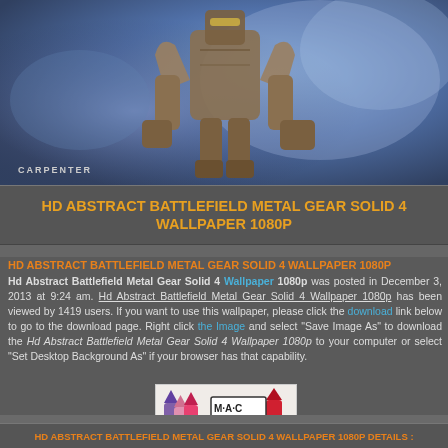[Figure (photo): Top portion showing a robot/mech figure (Metal Gear Solid character) on a blue abstract background with 'CARPENTER' watermark text in lower left]
HD ABSTRACT BATTLEFIELD METAL GEAR SOLID 4 WALLPAPER 1080P
HD ABSTRACT BATTLEFIELD METAL GEAR SOLID 4 WALLPAPER 1080P
Hd Abstract Battlefield Metal Gear Solid 4 Wallpaper 1080p was posted in December 3, 2013 at 9:24 am. Hd Abstract Battlefield Metal Gear Solid 4 Wallpaper 1080p has been viewed by 1419 users. If you want to use this wallpaper, please click the download link below to go to the download page. Right click the Image and select "Save Image As" to download the Hd Abstract Battlefield Metal Gear Solid 4 Wallpaper 1080p to your computer or select "Set Desktop Background As" if your browser has that capability.
[Figure (photo): MAC cosmetics advertisement showing lipsticks and SHOP NOW button]
HD ABSTRACT BATTLEFIELD METAL GEAR SOLID 4 WALLPAPER 1080P DETAILS :
Title : Hd Abstract Battlefield Metal Gear Solid 4 Wallpaper 1080p